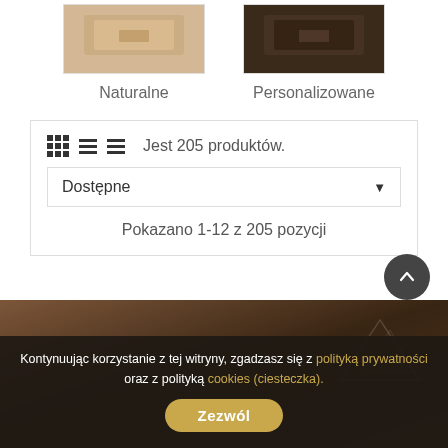[Figure (photo): Category thumbnail for Naturalne - light wood box with natural finish]
Naturalne
[Figure (photo): Category thumbnail for Personalizowane - dark wood box with personalized finish]
Personalizowane
Jest 205 produktów.
Dostępne
Pokazano 1-12 z 205 pozycji
[Figure (photo): Background banner image with dark brown/chocolate tones and decorative pattern]
Kontynuując korzystanie z tej witryny, zgadzasz się z polityką prywatności oraz z polityką cookies (ciesteczka).